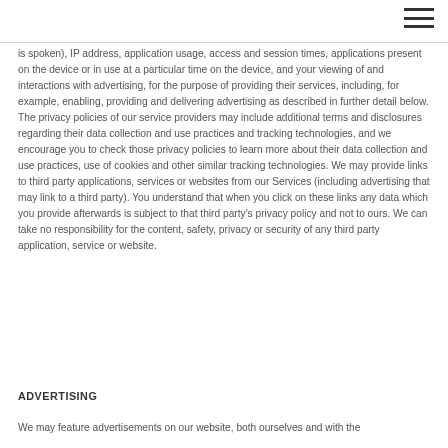≡
is spoken), IP address, application usage, access and session times, applications present on the device or in use at a particular time on the device, and your viewing of and interactions with advertising, for the purpose of providing their services, including, for example, enabling, providing and delivering advertising as described in further detail below. The privacy policies of our service providers may include additional terms and disclosures regarding their data collection and use practices and tracking technologies, and we encourage you to check those privacy policies to learn more about their data collection and use practices, use of cookies and other similar tracking technologies. We may provide links to third party applications, services or websites from our Services (including advertising that may link to a third party). You understand that when you click on these links any data which you provide afterwards is subject to that third party's privacy policy and not to ours. We can take no responsibility for the content, safety, privacy or security of any third party application, service or website.
ADVERTISING
We may feature advertisements on our website, both ourselves and with the